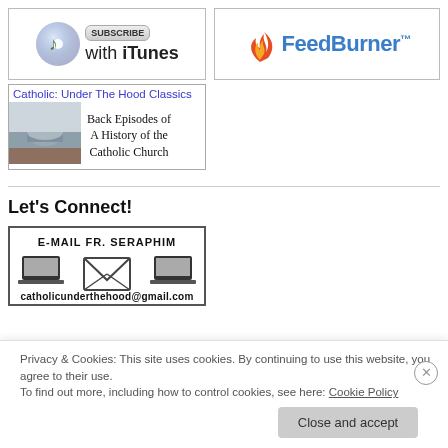[Figure (logo): Subscribe with iTunes button showing iTunes CD icon and subscribe badge]
[Figure (logo): FeedBurner logo with flame icon and blue text]
[Figure (illustration): Catholic: Under The Hood Classics banner showing Vatican dome image with text 'Back Episodes of A History of the Catholic Church']
Let's Connect!
[Figure (illustration): E-mail Fr. Seraphim banner with laptop icons, envelope, and catholicunderthehood@gmail.com]
Privacy & Cookies: This site uses cookies. By continuing to use this website, you agree to their use.
To find out more, including how to control cookies, see here: Cookie Policy
Close and accept